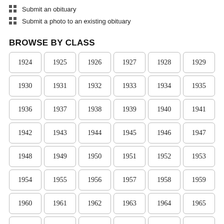Submit an obituary
Submit a photo to an existing obituary
BROWSE BY CLASS
| 1924 | 1925 | 1926 | 1927 | 1928 | 1929 |
| 1930 | 1931 | 1932 | 1933 | 1934 | 1935 |
| 1936 | 1937 | 1938 | 1939 | 1940 | 1941 |
| 1942 | 1943 | 1944 | 1945 | 1946 | 1947 |
| 1948 | 1949 | 1950 | 1951 | 1952 | 1953 |
| 1954 | 1955 | 1956 | 1957 | 1958 | 1959 |
| 1960 | 1961 | 1962 | 1963 | 1964 | 1965 |
| 1966 | 1967 | 1968 | 1969 | 1970 | 1971 |